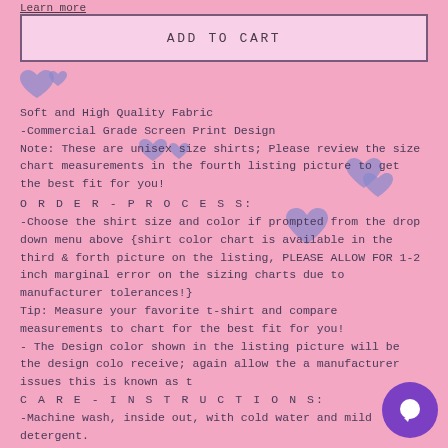Learn more
ADD TO CART
Soft and High Quality Fabric
-Commercial Grade Screen Print Design
Note: These are unisex size shirts; Please review the size chart measurements in the fourth listing picture to get the best fit for you!
ORDER-PROCESS:
-Choose the shirt size and color if prompted from the drop down menu above {shirt color chart is available in the third & forth picture on the listing, PLEASE ALLOW FOR 1-2 inch marginal error on the sizing charts due to manufacturer tolerances!}
Tip: Measure your favorite t-shirt and compare measurements to chart for the best fit for you!
- The Design color shown in the listing picture will be the design colo receive; again allow the a manufacturer issues this is known as t
CARE-INSTRUCTIONS:
-Machine wash, inside out, with cold water and mild detergent.